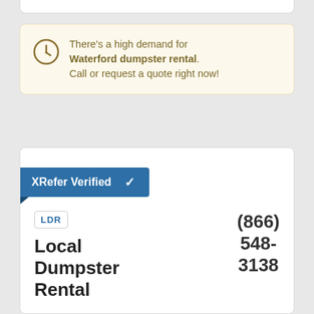There's a high demand for Waterford dumpster rental. Call or request a quote right now!
XRefer Verified ✓
[Figure (logo): LDR (Local Dumpster Rental) logo in a bordered box]
Local Dumpster Rental
(866) 548-3138
Verified: ✓ Insurance | ✓ License
Serving: Cohoes, Latham, Valley Falls, Eagle Bridge and throughout Waterford.
Specializing in: ...